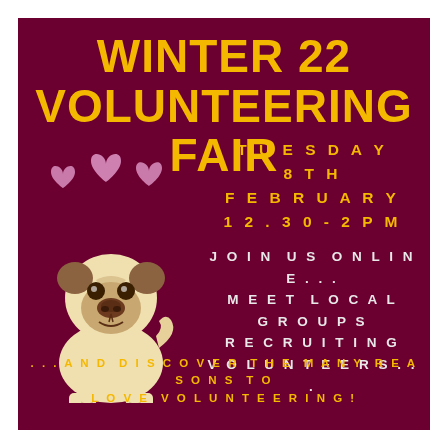WINTER 22 VOLUNTEERING FAIR
[Figure (illustration): Cartoon pug dog with pink hearts above it on a dark maroon background]
TUESDAY 8TH FEBRUARY 12.30 - 2PM
JOIN US ONLINE... MEET LOCAL GROUPS RECRUITING VOLUNTEERS...
... AND DISCOVER THE MANY REASONS TO LOVE VOLUNTEERING!